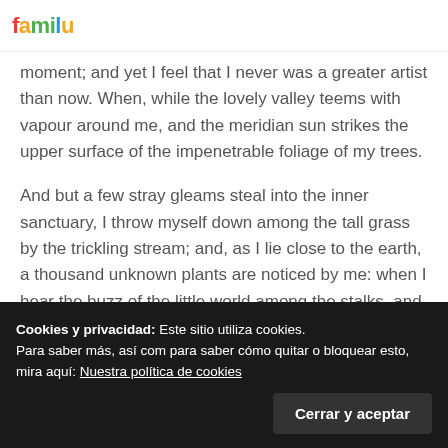family
moment; and yet I feel that I never was a greater artist than now. When, while the lovely valley teems with vapour around me, and the meridian sun strikes the upper surface of the impenetrable foliage of my trees.
And but a few stray gleams steal into the inner sanctuary, I throw myself down among the tall grass by the trickling stream; and, as I lie close to the earth, a thousand unknown plants are noticed by me: when I hear the buzz of the little world among the stalks, and grow familiar with the countless indescribable forms of the insects and flies, then I feel the
Cookies y privacidad: Este sitio utiliza cookies.
Para saber más, así com para saber cómo quitar o bloquear esto, mira aquí: Nuestra política de cookies
Cerrar y aceptar